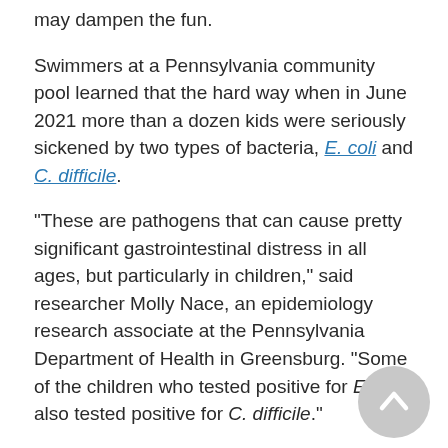may dampen the fun.
Swimmers at a Pennsylvania community pool learned that the hard way when in June 2021 more than a dozen kids were seriously sickened by two types of bacteria, E. coli and C. difficile.
"These are pathogens that can cause pretty significant gastrointestinal distress in all ages, but particularly in children," said researcher Molly Nace, an epidemiology research associate at the Pennsylvania Department of Health in Greensburg. "Some of the children who tested positive for E. coli also tested positive for C. difficile."
The kids got sick after swallowing the pool water, she said.
These bacteria usually find their way into pool water